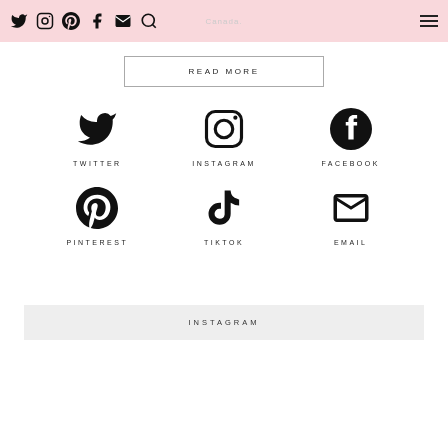Canada.
READ MORE
[Figure (infographic): Social media icons grid: Twitter, Instagram, Facebook (top row); Pinterest, TikTok, Email (bottom row), each with label below icon]
INSTAGRAM